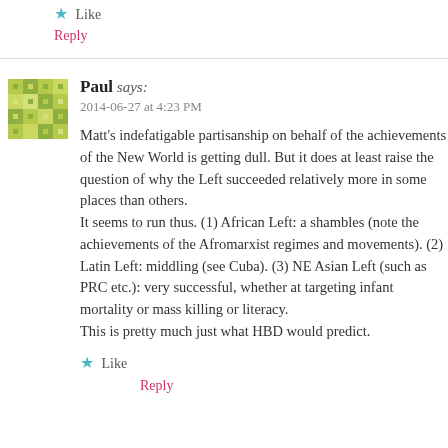★ Like
Reply
[Figure (illustration): User avatar with green/yellow diamond/square mosaic pattern]
Paul says:
2014-06-27 at 4:23 PM
Matt's indefatigable partisanship on behalf of the achievements of the New World is getting dull. But it does at least raise the question of why the Left succeeded relatively more in some places than others. It seems to run thus. (1) African Left: a shambles (note: I'm not disputing the achievements of the Afromarxist regimes and movements). (2) Latin Left: middling (see Cuba). (3) NE Asian Left (such as PRC etc.): very successful, whether at targeting infant mortality or mass killing or literacy. This is pretty much just what HBD would predict.
★ Like
Reply